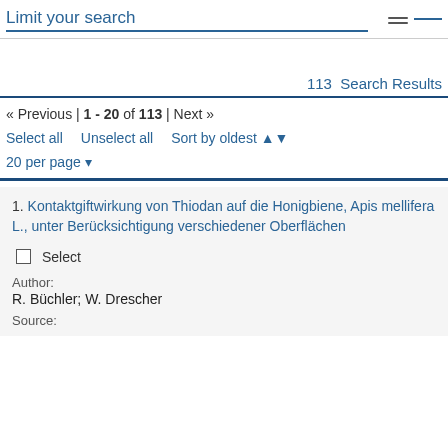Limit your search
113 Search Results
« Previous | 1 - 20 of 113 | Next »
Select all   Unselect all   Sort by oldest
20 per page
1. Kontaktgiftwirkung von Thiodan auf die Honigbiene, Apis mellifera L., unter Berücksichtigung verschiedener Oberflächen
Select
Author:
R. Büchler; W. Drescher
Source: